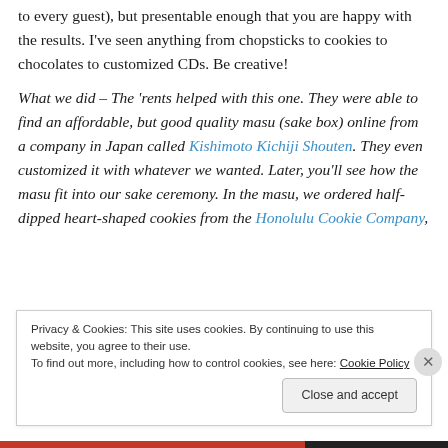to every guest), but presentable enough that you are happy with the results. I've seen anything from chopsticks to cookies to chocolates to customized CDs. Be creative!
What we did – The 'rents helped with this one. They were able to find an affordable, but good quality masu (sake box) online from a company in Japan called Kishimoto Kichiji Shouten. They even customized it with whatever we wanted. Later, you'll see how the masu fit into our sake ceremony. In the masu, we ordered half-dipped heart-shaped cookies from the Honolulu Cookie Company,
Privacy & Cookies: This site uses cookies. By continuing to use this website, you agree to their use.
To find out more, including how to control cookies, see here: Cookie Policy
Close and accept